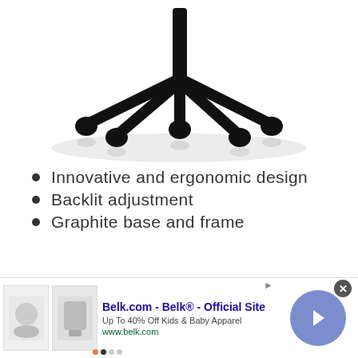[Figure (photo): Bottom portion of a black gaming/office chair showing the five-wheel base with casters and a central column, photographed from below against a white background with subtle reflection]
Innovative and ergonomic design
Backlit adjustment
Graphite base and frame
Check on Amazon
Belk.com - Belk® - Official Site
Up To 40% Off Kids & Baby Apparel
www.belk.com